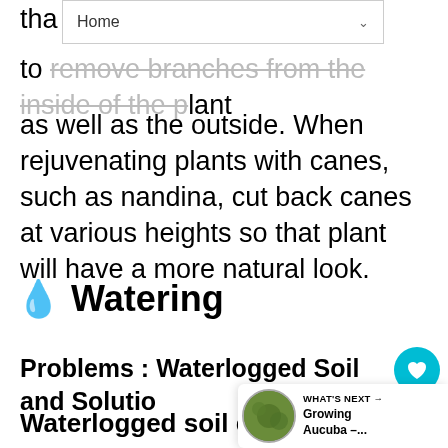Home
that [partially obscured] to remove branches from the inside of the plant as well as the outside. When rejuvenating plants with canes, such as nandina, cut back canes at various heights so that plant will have a more natural look.
💧 Watering
Problems : Waterlogged Soil and Solutions
Waterlogged soil occurs when more water is added to soil than can drain out in a reasonable amount of time. This can be a severe problem where water tables are high or soils are compacted. Lack of air space in